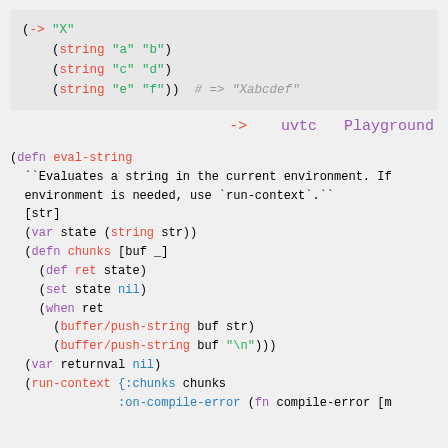[Figure (screenshot): Code snippet showing Clojure threading macro with string calls and comment showing result 'Xabcdef']
-> uvtc Playground
[Figure (screenshot): Clojure code defining eval-string function with docstring, var, defn chunks, def, set, when, buffer/push-string, var returnval, run-context calls]